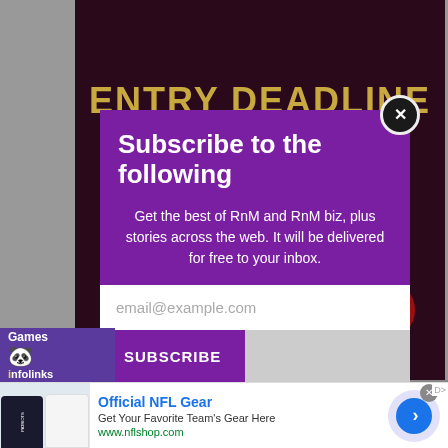[Figure (screenshot): Dark maroon background banner with 'ENTRY DEADLINE' text in gold, showing a website page with crowd imagery]
Subscribe to the following
Get the best of RnM and RnM biz, plus stories across the web. It will be delivered for free to your inbox.
email@example.com
SUBSCRIBE
[Figure (screenshot): infolinks Games advertisement bar with panda face icon]
[Figure (screenshot): Official NFL Gear advertisement banner showing Patriots jerseys, title 'Official NFL Gear', subtitle 'Get Your Favorite Team's Gear Here', URL www.nflshop.com, with blue arrow circle button]